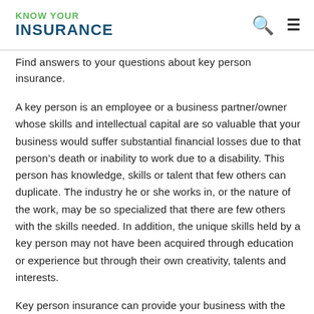KNOW YOUR INSURANCE
Find answers to your questions about key person insurance.
A key person is an employee or a business partner/owner whose skills and intellectual capital are so valuable that your business would suffer substantial financial losses due to that person's death or inability to work due to a disability. This person has knowledge, skills or talent that few others can duplicate. The industry he or she works in, or the nature of the work, may be so specialized that there are few others with the skills needed. In addition, the unique skills held by a key person may not have been acquired through education or experience but through their own creativity, talents and interests.
Key person insurance can provide your business with the